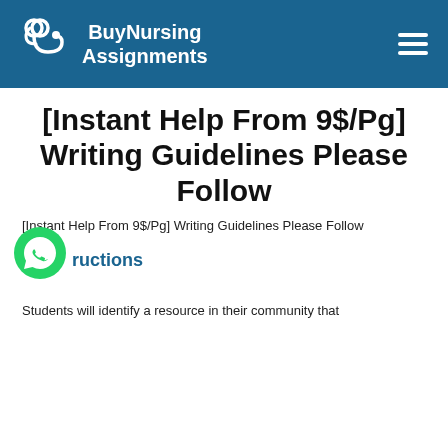BuyNursing Assignments
[Instant Help From 9$/Pg] Writing Guidelines Please Follow
[Instant Help From 9$/Pg] Writing Guidelines Please Follow
Instructions
Students will identify a resource in their community that